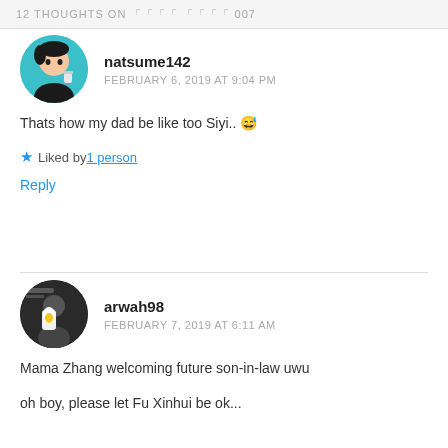12 THOUGHTS ON 「「「「 「「「「 007
natsume142
FEBRUARY 6, 2019 AT 9:04 PM
Thats how my dad be like too Siyi.. 😅
★ Liked by 1 person
Reply
arwah98
FEBRUARY 7, 2019 AT 6:11 AM
Mama Zhang welcoming future son-in-law uwu
oh boy, please let Fu Xinhui be ok...